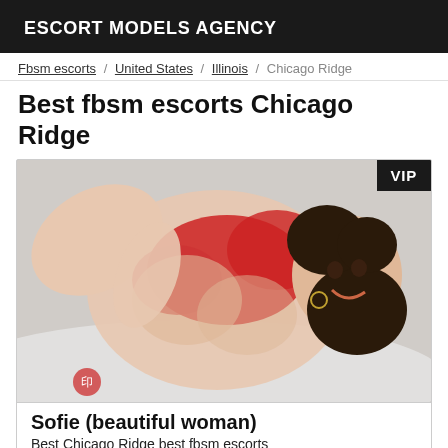ESCORT MODELS AGENCY
Fbsm escorts / United States / Illinois / Chicago Ridge
Best fbsm escorts Chicago Ridge
[Figure (photo): Photo of a woman in a red top lying on a white surface, smiling at camera. VIP badge in top right corner.]
Sofie (beautiful woman)
Best Chicago Ridge best fbsm escorts